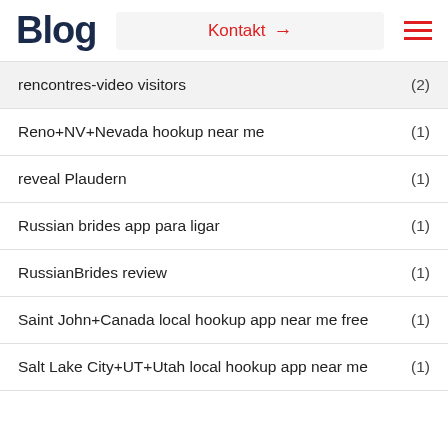Blog
rencontres-video visitors (2)
Reno+NV+Nevada hookup near me (1)
reveal Plaudern (1)
Russian brides app para ligar (1)
RussianBrides review (1)
Saint John+Canada local hookup app near me free (1)
Salt Lake City+UT+Utah local hookup app near me (1)